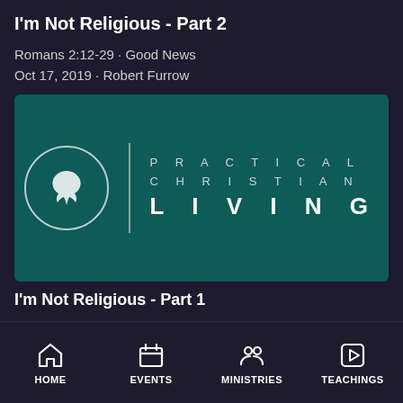I'm Not Religious - Part 2
Romans 2:12-29 · Good News
Oct 17, 2019 · Robert Furrow
[Figure (logo): Practical Christian Living logo on teal/dark green background with circular leaf icon on the left, vertical divider, and spaced text reading PRACTICAL CHRISTIAN LIVING on the right]
I'm Not Religious - Part 1
HOME | EVENTS | MINISTRIES | TEACHINGS